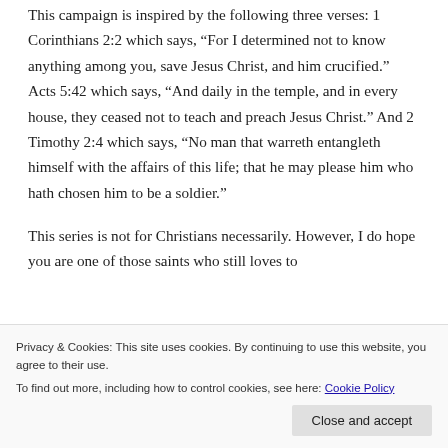This campaign is inspired by the following three verses: 1 Corinthians 2:2 which says, “For I determined not to know anything among you, save Jesus Christ, and him crucified.” Acts 5:42 which says, “And daily in the temple, and in every house, they ceased not to teach and preach Jesus Christ.” And 2 Timothy 2:4 which says, “No man that warreth entangleth himself with the affairs of this life; that he may please him who hath chosen him to be a soldier.”
This series is not for Christians necessarily. However, I do hope you are one of those saints who still loves to
series is primarily for unbelievers, so they can hear and
Privacy & Cookies: This site uses cookies. By continuing to use this website, you agree to their use.
To find out more, including how to control cookies, see here: Cookie Policy